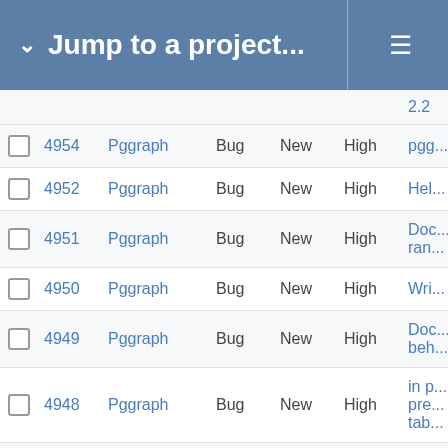Jump to a project...
|  | # | Project | Type | Status | Priority | Summary |
| --- | --- | --- | --- | --- | --- | --- |
|  |  |  |  |  |  | 2.2 |
|  | 4954 | Pggraph | Bug | New | High | pgg... |
|  | 4952 | Pggraph | Bug | New | High | Hel... |
|  | 4951 | Pggraph | Bug | New | High | Doc... ran... |
|  | 4950 | Pggraph | Bug | New | High | Wri... |
|  | 4949 | Pggraph | Bug | New | High | Doc... beh... |
|  | 4948 | Pggraph | Bug | New | High | in p... pre... tab... |
|  | 4947 | Pggraph | Bug | New | High | Do... arr... |
|  | 4945 | Pggraph | Bug | New | High | For... abo... dat... |
|  | 4940 | Pggraph | Bug | New | High | Rem... |
|  |  |  |  |  |  | Mo... |